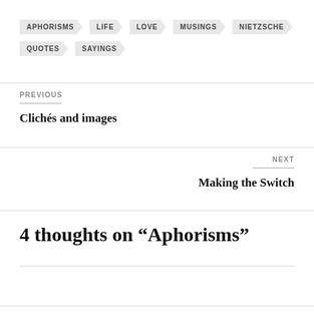APHORISMS
LIFE
LOVE
MUSINGS
NIETZSCHE
QUOTES
SAYINGS
PREVIOUS
Clichés and images
NEXT
Making the Switch
4 thoughts on “Aphorisms”